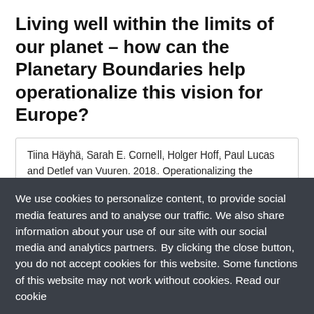Living well within the limits of our planet – how can the Planetary Boundaries help operationalize this vision for Europe?
Tiina Häyhä, Sarah E. Cornell, Holger Hoff, Paul Lucas and Detlef van Vuuren. 2018. Operationalizing the concept of a safe operating space at the EU level – first steps and explorations. Stockholm Resilience Centre Technical Report, prepared in collaboration with Stockholm Environment Institute (SEI) and PBL Netherlands Environmental Assessment Agency. Stockholm Resilience Centre, Stockholm University, Sweden.
We use cookies to personalize content, to provide social media features and to analyse our traffic. We also share information about your use of our site with our social media and analytics partners. By clicking the close button, you do not accept cookies for this website. Some functions of this website may not work without cookies. Read our cookie